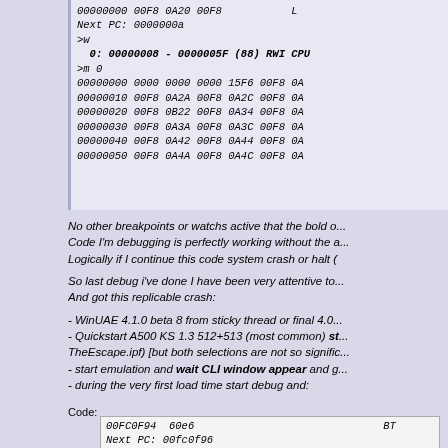[Figure (screenshot): Terminal/debugger output showing memory dump and watchpoint listing in a monospaced font within a light blue-gray code box]
No other breakpoints or watchs active that the bold o... Code I'm debugging is perfectly working without the a... Logically if I continue this code system crash or halt (
So last debug i've done I have been very attentive to... And got this replicable crash:
- WinUAE 4.1.0 beta 8 from sticky thread or final 4.0...
- Quickstart A500 KS 1.3 512+513 (most common) st... TheEscape.ipf) [but both selections are not so signific...
- start emulation and wait CLI window appear and g...
- during the very first load time start debug and:
Code:
[Figure (screenshot): Code box showing: 00FC0F94  60e6  BT... Next PC: 00fc0f96]